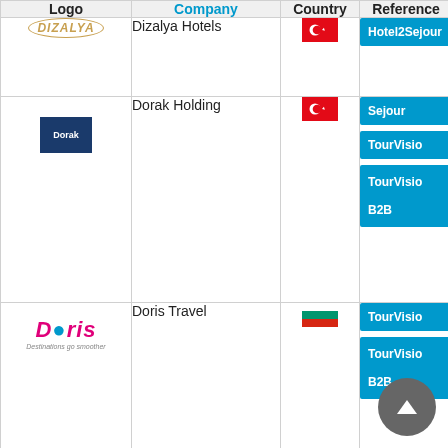| Logo | Company | Country | Reference |
| --- | --- | --- | --- |
| Dizalya Hotels logo | Dizalya Hotels | Turkey | Hotel2Sejour |
| Dorak Holding logo | Dorak Holding | Turkey | Sejour / TourVisio / TourVisio B2B |
| Doris Travel logo | Doris Travel | Bulgaria | TourVisio / TourVisio B2B |
| Doubletree By Hilton logo | Doubletree By Hilton | Turkey | Hotel2Sejour |